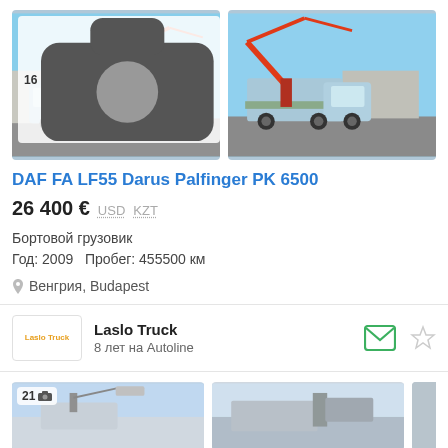[Figure (photo): DAF FA LF55 truck with crane, front-left view, light blue cab, crane arm extended]
[Figure (photo): DAF FA LF55 truck with crane, front-right view, crane arm extended, same vehicle]
DAF FA LF55 Darus Palfinger PK 6500
26 400 €  USD  KZT
Бортовой грузовик
Год: 2009   Пробег: 455500 км
Венгрия, Budapest
Laslo Truck
8 лет на Autoline
[Figure (photo): Second listing truck photo, partial view at bottom]
[Figure (photo): Second listing truck photo right, partial view at bottom]